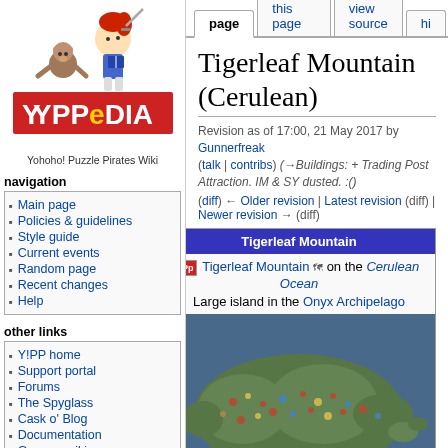[Figure (logo): YPPedia logo - Yohoho! Puzzle Pirates Wiki with cartoon pirate character and monkey]
Yohoho! Puzzle Pirates Wiki
navigation
Main page
Policies & guidelines
Style guide
Current events
Random page
Recent changes
Help
other links
Y!PP home
Support portal
Forums
The Spyglass
Cask o' Blog
Documentation
German wiki
log in | page | discuss this page | view source | hi
Tigerleaf Mountain (Cerulean)
Revision as of 17:00, 21 May 2017 by Gunnerfreak (talk | contribs) (→Buildings: + Trading Post Attraction. IM & SY dusted. :()
(diff) ← Older revision | Latest revision (diff) | Newer revision → (diff)
| Tigerleaf Mountain |
| Tigerleaf Mountain on the Cerulean Ocean |
| Large island in the Onyx Archipelago |
| [map image] |
[Figure (map): Map of Tigerleaf Mountain island showing buildings and terrain on the Cerulean Ocean]